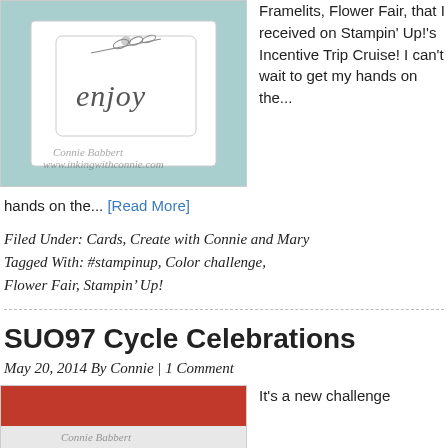[Figure (photo): A handmade card with a light blue/teal background and a white tag showing the word 'enjoy' in cursive script, with a wheat/leaf embellishment. Watermark reads 'Connie Babbert' with website text beneath.]
Framelits, Flower Fair, that I received on Stampin' Up!'s Incentive Trip Cruise! I can't wait to get my hands on the... [Read More]
Filed Under: Cards, Create with Connie and Mary
Tagged With: #stampinup, Color challenge, Flower Fair, Stampin' Up!
SUO97 Cycle Celebrations
May 20, 2014 By Connie | 1 Comment
[Figure (photo): A handmade card with a red top portion, white lower portion, with a 'Connie Babbert' watermark signature.]
It's a new challenge